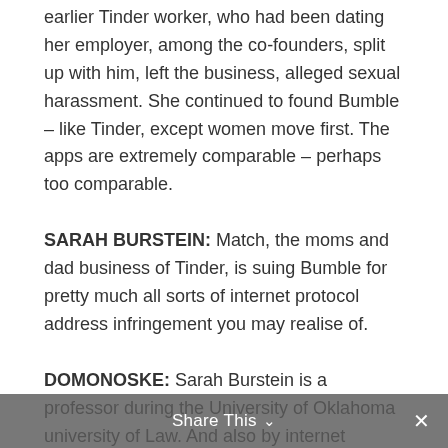earlier Tinder worker, who had been dating her employer, among the co-founders, split up with him, left the business, alleged sexual harassment. She continued to found Bumble – like Tinder, except women move first. The apps are extremely comparable – perhaps too comparable.
SARAH BURSTEIN: Match, the moms and dad business of Tinder, is suing Bumble for pretty much all sorts of internet protocol address infringement you may realise of.
DOMONOSKE: Sarah Burstein is a professor during the University of Oklahoma university of Law. And also by internet protocol address, she moans intellectual home. Tinder has patents
Share This ×